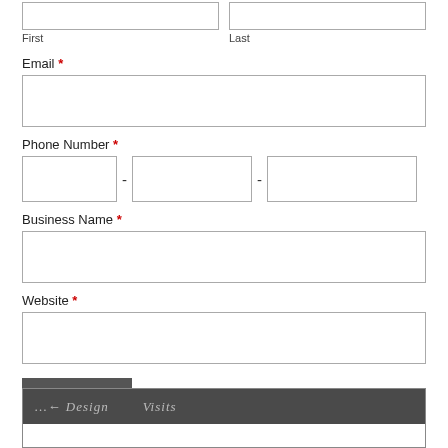First
Last
Email *
Phone Number *
Business Name *
Website *
SUBMIT
[Figure (screenshot): Partial screenshot showing a dark header bar with text 'Design  Visits' visible]